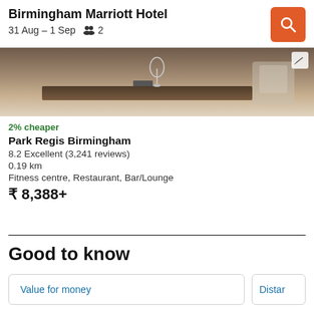Birmingham Marriott Hotel
31 Aug – 1 Sep  👥 2
[Figure (photo): Interior hotel photo showing a table with wine glasses and upholstered seating]
2% cheaper
Park Regis Birmingham
8.2 Excellent (3,241 reviews)
0.19 km
Fitness centre, Restaurant, Bar/Lounge
₹ 8,388+
Good to know
Value for money
Distar